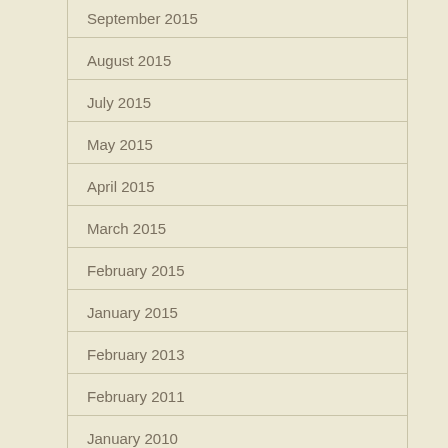September 2015
August 2015
July 2015
May 2015
April 2015
March 2015
February 2015
January 2015
February 2013
February 2011
January 2010